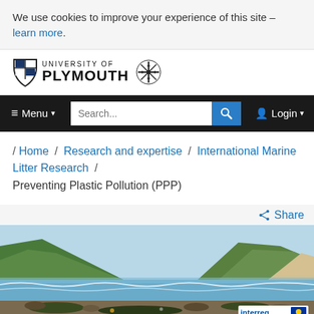We use cookies to improve your experience of this site – learn more.
[Figure (logo): University of Plymouth logo with shield and snowflake emblem]
Menu / Search / Login navigation bar
/ Home / Research and expertise / International Marine Litter Research / Preventing Plastic Pollution (PPP)
Share
[Figure (photo): Coastal scene with green headlands, sea with waves, and rocky beach with seaweed and debris. Interreg logo visible in bottom right corner.]